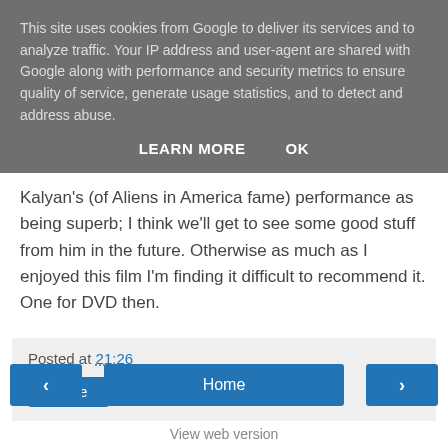This site uses cookies from Google to deliver its services and to analyze traffic. Your IP address and user-agent are shared with Google along with performance and security metrics to ensure quality of service, generate usage statistics, and to detect and address abuse.
LEARN MORE    OK
Kalyan's (of Aliens in America fame) performance as being superb; I think we'll get to see some good stuff from him in the future. Otherwise as much as I enjoyed this film I'm finding it difficult to recommend it. One for DVD then.
Posted at 21:26
Share
‹
Home
›
View web version